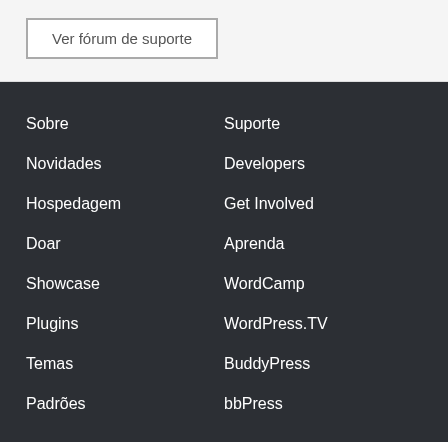Ver fórum de suporte
Sobre
Novidades
Hospedagem
Doar
Suporte
Developers
Get Involved
Aprenda
Showcase
Plugins
Temas
Padrões
WordCamp
WordPress.TV
BuddyPress
bbPress